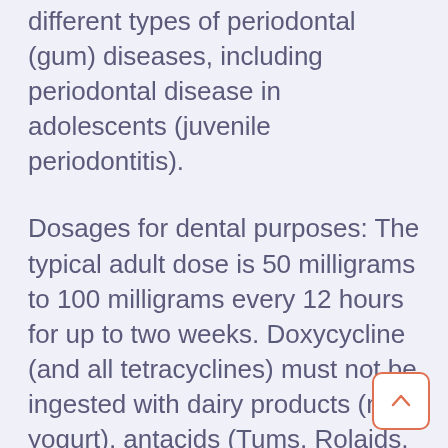different types of periodontal (gum) diseases, including periodontal disease in adolescents (juvenile periodontitis).
Dosages for dental purposes: The typical adult dose is 50 milligrams to 100 milligrams every 12 hours for up to two weeks. Doxycycline (and all tetracyclines) must not be ingested with dairy products (milk, yogurt), antacids (Tums, Rolaids, Maalox, Mylanta, Pepto-Bismol), or iron and zinc supplements, because these products greatly inhibit the absorption of tetracyclines from the